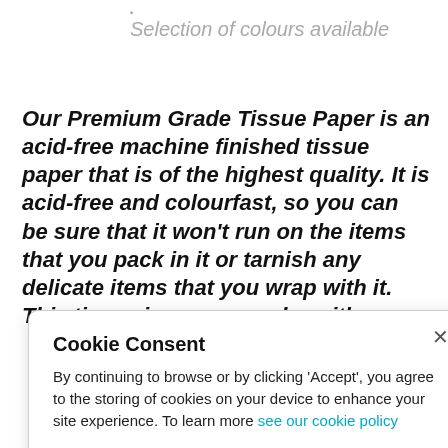• Selection of colours available
Our Premium Grade Tissue Paper is an acid-free machine finished tissue paper that is of the highest quality. It is acid-free and colourfast, so you can be sure that it won’t run on the items that you pack in it or tarnish any delicate items that you wrap with it. This tissue is more popular with
Cookie Consent

By continuing to browse or by clicking ‘Accept’, you agree to the storing of cookies on your device to enhance your site experience. To learn more see our cookie policy

Accept cookies